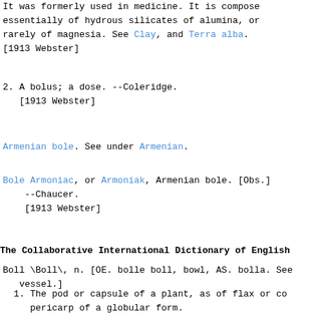It was formerly used in medicine. It is composed essentially of hydrous silicates of alumina, or rarely of magnesia. See Clay, and Terra alba. [1913 Webster]
2. A bolus; a dose. --Coleridge.
   [1913 Webster]
Armenian bole. See under Armenian.
Bole Armoniac, or Armoniak, Armenian bole. [Obs.]
   --Chaucer.
   [1913 Webster]
The Collaborative International Dictionary of English
Boll \Boll\, n. [OE. bolle boll, bowl, AS. bolla. See vessel.]
1. The pod or capsule of a plant, as of flax or cotton; pericarp of a globular form.
   [1913 Webster]